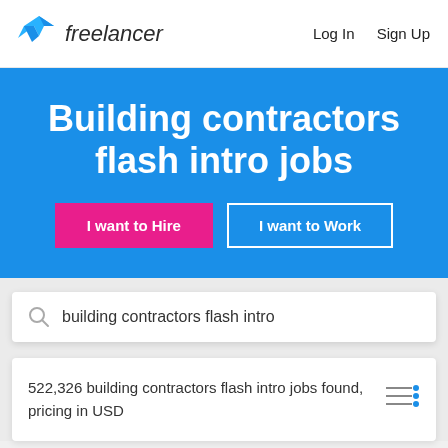[Figure (logo): Freelancer logo with teal/blue origami bird icon and italic 'freelancer' wordmark]
Log In   Sign Up
Building contractors flash intro jobs
I want to Hire
I want to Work
building contractors flash intro
522,326 building contractors flash intro jobs found, pricing in USD